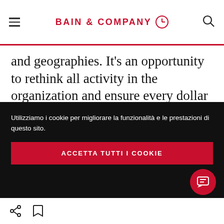BAIN & COMPANY
and geographies. It’s an opportunity to rethink all activity in the organization and ensure every dollar spent is working to support the company’s strategy and growth. For pharma companies, that includes freeing up critical capital to increase investment in high-priority R&D projects and fund new drug launches. At the
Utilizziamo i cookie per migliorare la funzionalità e le prestazioni di questo sito.
ACCETTA TUTTI I COOKIE